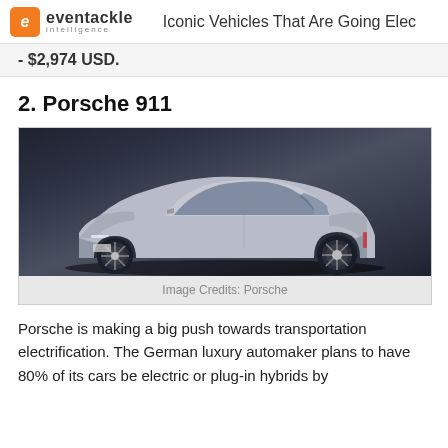eventackle intelligence — Iconic Vehicles That Are Going Elec
- $2,974 USD.
2. Porsche 911
[Figure (photo): Silver Porsche 911 sports car photographed in a dark studio setting, shown from a front three-quarter angle.]
Image Credits: Porsche
Porsche is making a big push towards transportation electrification. The German luxury automaker plans to have 80% of its cars be electric or plug-in hybrids by